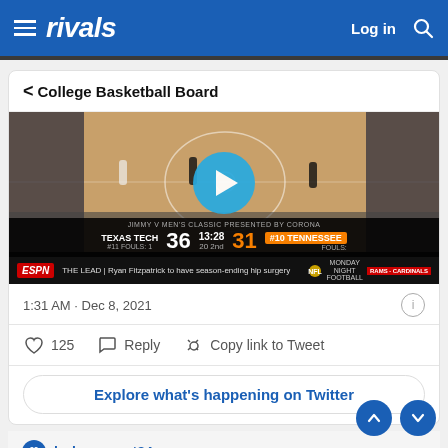rivals | Log in
< College Basketball Board
[Figure (screenshot): Basketball game video thumbnail showing Texas Tech vs Tennessee with score 36-31, ESPN ticker at bottom]
1:31 AM · Dec 8, 2021
♡ 125   Reply   Copy link to Tweet
Explore what's happening on Twitter
lurkeraspect84